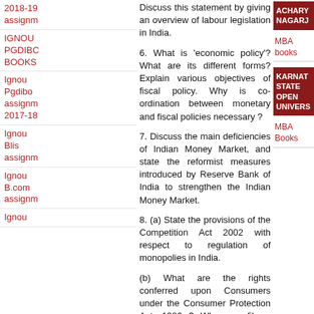2018-19 assignm
IGNOU PGDIBC BOOKS
Ignou Pgdibo assignm 2017-18
Ignou Blis assignm
Ignou B.com assignm
Ignou
Ignou
Discuss this statement by giving an overview of labour legislation in India.
6. What is 'economic policy'? What are its different forms? Explain various objectives of fiscal policy. Why is co-ordination between monetary and fiscal policies necessary ?
7. Discuss the main deficiencies of Indian Money Market, and state the reformist measures introduced by Reserve Bank of India to strengthen the Indian Money Market.
8. (a) State the provisions of the Competition Act 2002 with respect to regulation of monopolies in India.
(b) What are the rights conferred upon Consumers under the Consumer Protection Act, 1986 ? Who can file a complaint under the Act ? Explain.
9. Why is foreign capital so important for India's economic development ? Point out
[Figure (logo): ACHARY NAGARJ red box logo on right sidebar]
MBA books
[Figure (logo): KARNAT STATE OPEN UNIVERS red box logo on right sidebar]
MBA Books
[Figure (logo): WhatsApp green circle button]